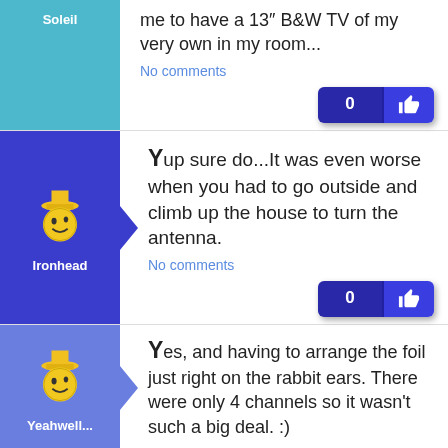me to have a 13" B&W TV of my very own in my room...
No comments
Yup sure do...It was even worse when you had to go outside and climb up the house to turn the antenna.
No comments
Yes, and having to arrange the foil just right on the rabbit ears. There were only 4 channels so it wasn't such a big deal. :)